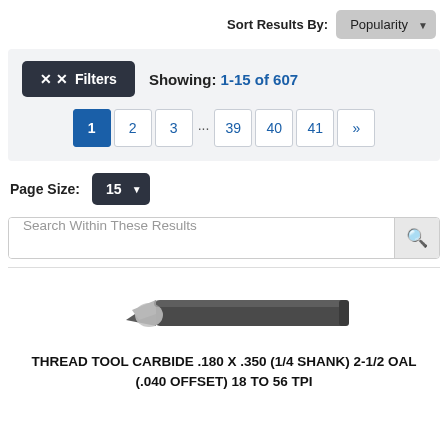Sort Results By: Popularity
Filters  Showing: 1-15 of 607
Pagination: 1 2 3 ... 39 40 41 »
Page Size: 15
Search Within These Results
[Figure (photo): Thread tool carbide cutting tool, dark gray cylindrical shank with angled carbide tip at left end]
THREAD TOOL CARBIDE .180 X .350 (1/4 SHANK) 2-1/2 OAL (.040 OFFSET) 18 TO 56 TPI